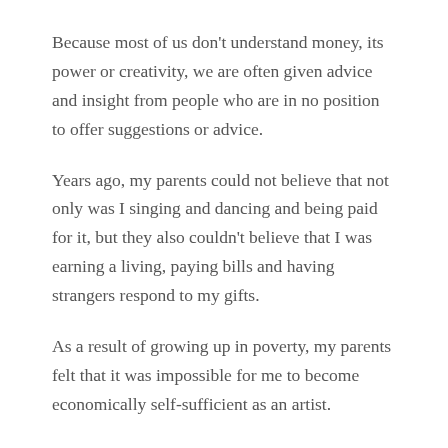Because most of us don't understand money, its power or creativity, we are often given advice and insight from people who are in no position to offer suggestions or advice.
Years ago, my parents could not believe that not only was I singing and dancing and being paid for it, but they also couldn't believe that I was earning a living, paying bills and having strangers respond to my gifts.
As a result of growing up in poverty, my parents felt that it was impossible for me to become economically self-sufficient as an artist.
It is hard in this country to be a prolific artist and be financially solvent.
Our country is not designed to support those of us who answer the siren's call and take on artistic expression.